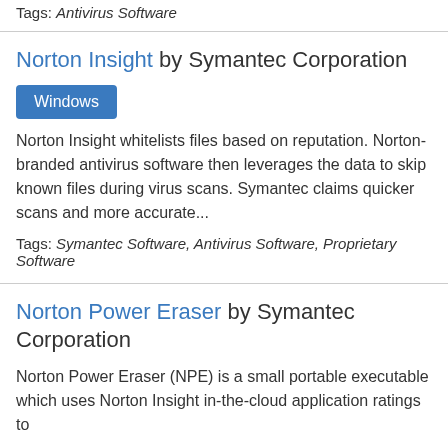Tags: Antivirus Software
Norton Insight by Symantec Corporation
Windows
Norton Insight whitelists files based on reputation. Norton-branded antivirus software then leverages the data to skip known files during virus scans. Symantec claims quicker scans and more accurate...
Tags: Symantec Software, Antivirus Software, Proprietary Software
Norton Power Eraser by Symantec Corporation
Norton Power Eraser (NPE) is a small portable executable which uses Norton Insight in-the-cloud application ratings to